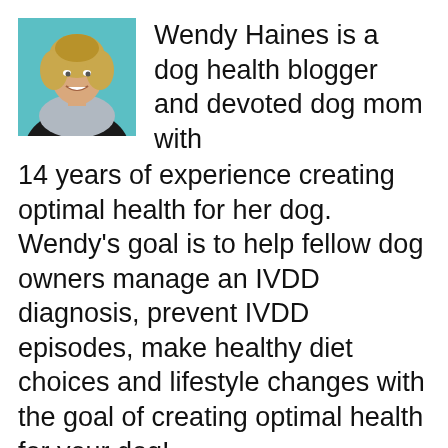[Figure (photo): Headshot photo of Wendy Haines, a woman with blonde hair wearing a grey scarf and black top, smiling]
Wendy Haines is a dog health blogger and devoted dog mom with 14 years of experience creating optimal health for her dog. Wendy’s goal is to help fellow dog owners manage an IVDD diagnosis, prevent IVDD episodes, make healthy diet choices and lifestyle changes with the goal of creating optimal health for your dog!